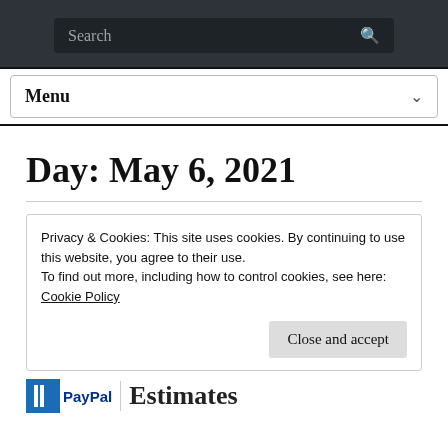Search
Menu
Day: May 6, 2021
Privacy & Cookies: This site uses cookies. By continuing to use this website, you agree to their use.
To find out more, including how to control cookies, see here:
Cookie Policy
Close and accept
PayPal Estimates